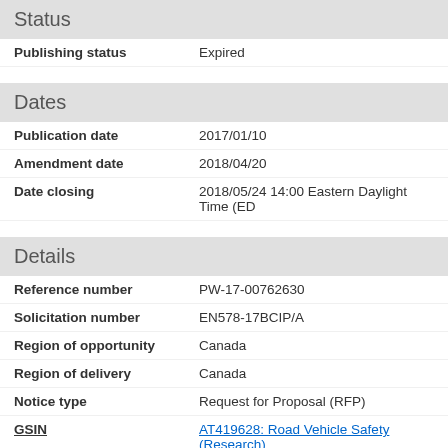Status
Publishing status: Expired
Dates
Publication date: 2017/01/10
Amendment date: 2018/04/20
Date closing: 2018/05/24 14:00 Eastern Daylight Time (ED
Details
Reference number: PW-17-00762630
Solicitation number: EN578-17BCIP/A
Region of opportunity: Canada
Region of delivery: Canada
Notice type: Request for Proposal (RFP)
GSIN: AT419628: Road Vehicle Safety (Research), AT619624: Road Vehicle Regulations